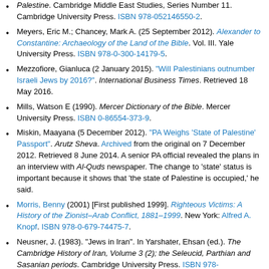Palestine. Cambridge Middle East Studies, Series Number 11. Cambridge University Press. ISBN 978-052146550-2.
Meyers, Eric M.; Chancey, Mark A. (25 September 2012). Alexander to Constantine: Archaeology of the Land of the Bible. Vol. III. Yale University Press. ISBN 978-0-300-14179-5.
Mezzofiore, Gianluca (2 January 2015). "Will Palestinians outnumber Israeli Jews by 2016?". International Business Times. Retrieved 18 May 2016.
Mills, Watson E (1990). Mercer Dictionary of the Bible. Mercer University Press. ISBN 0-86554-373-9.
Miskin, Maayana (5 December 2012). "PA Weighs 'State of Palestine' Passport". Arutz Sheva. Archived from the original on 7 December 2012. Retrieved 8 June 2014. A senior PA official revealed the plans in an interview with Al-Quds newspaper. The change to 'state' status is important because it shows that 'the state of Palestine is occupied,' he said.
Morris, Benny (2001) [First published 1999]. Righteous Victims: A History of the Zionist–Arab Conflict, 1881–1999. New York: Alfred A. Knopf. ISBN 978-0-679-74475-7.
Neusner, J. (1983). "Jews in Iran". In Yarshater, Ehsan (ed.). The Cambridge History of Iran, Volume 3 (2); the Seleucid, Parthian and Sasanian periods. Cambridge University Press. ISBN 978-